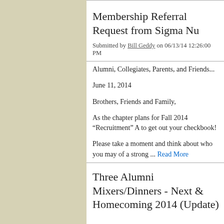Membership Referral Request from Sigma Nu
Submitted by Bill Geddy on 06/13/14 12:26:00 PM
Alumni, Collegiates, Parents, and Friends...
June 11, 2014
Brothers, Friends and Family,
As the chapter plans for Fall 2014 “Recruitment” A to get out your checkbook!
Please take a moment and think about who you may of a strong ... Read More
Three Alumni Mixers/Dinners - Next & Homecoming 2014 (Update)